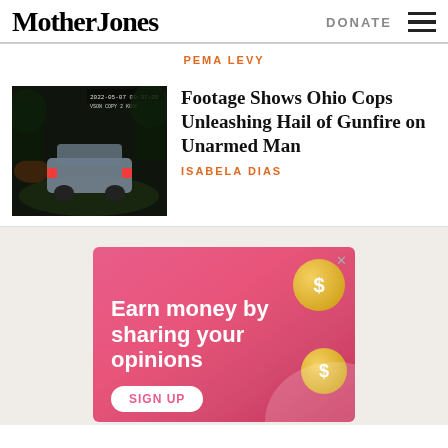Mother Jones
DONATE
PEMA LEVY
[Figure (photo): Dashcam footage still image showing a car at night with police lights]
Footage Shows Ohio Cops Unleashing Hail of Gunfire on Unarmed Man
ISABELA DIAS
[Figure (illustration): Advertisement banner with pink background reading 'Earn money by sharing your opinions' with gold coin graphics and a SIGN UP button]